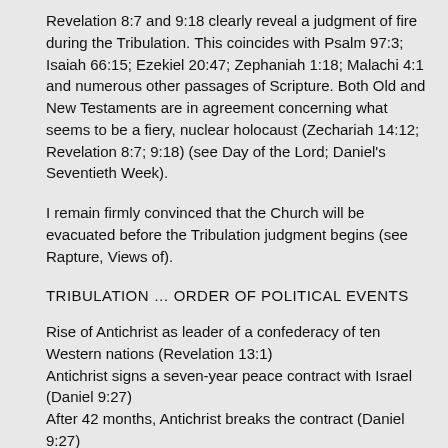Revelation 8:7 and 9:18 clearly reveal a judgment of fire during the Tribulation. This coincides with Psalm 97:3; Isaiah 66:15; Ezekiel 20:47; Zephaniah 1:18; Malachi 4:1 and numerous other passages of Scripture. Both Old and New Testaments are in agreement concerning what seems to be a fiery, nuclear holocaust (Zechariah 14:12; Revelation 8:7; 9:18) (see Day of the Lord; Daniel's Seventieth Week).
I remain firmly convinced that the Church will be evacuated before the Tribulation judgment begins (see Rapture, Views of).
TRIBULATION … ORDER OF POLITICAL EVENTS
Rise of Antichrist as leader of a confederacy of ten Western nations (Revelation 13:1)
Antichrist signs a seven-year peace contract with Israel (Daniel 9:27)
After 42 months, Antichrist breaks the contract (Daniel 9:27)
Russia invades Israel from the North (Ezekiel 38:15, 16) at a time when Israel is at rest or peace (Ezekiel 38:11). (So this will not happen before the peace contract is in effect.)
Antichrist attempts to destroy God's people, the Jews (Revelation